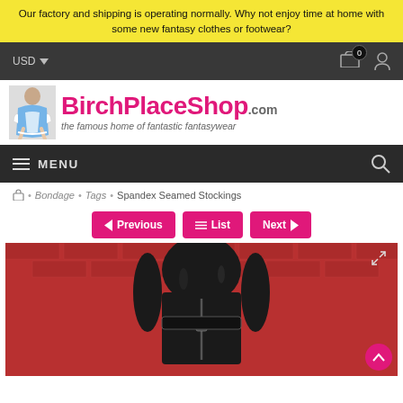Our factory and shipping is operating normally. Why not enjoy time at home with some new fantasy clothes or footwear?
[Figure (screenshot): Website navigation top bar with USD currency selector and cart/user icons on dark background]
[Figure (logo): BirchPlaceShop.com logo with tagline 'the famous home of fantastic fantasywear' and costumed figure]
[Figure (screenshot): Dark navigation bar with MENU hamburger button and search icon]
Bondage · Tags · Spandex Seamed Stockings
[Figure (screenshot): Navigation buttons: Previous, List, Next in pink/magenta]
[Figure (photo): Product photo showing person wearing black latex/leather catsuit with zipper detail against red brick wall background]